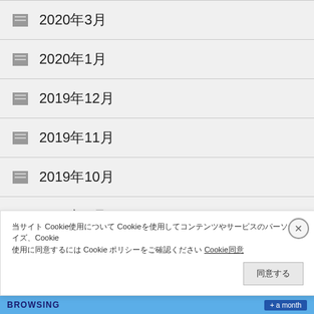2020年3月
2020年1月
2019年12月
2019年11月
2019年10月
2019年9月
2019年8月
当サイト Cookie使用について Cookieを使用してコンテンツやサービスのパーソナライズ、Cookie使用に同意するには Cookie ポリシーをご確認ください Cookie同意
同意する